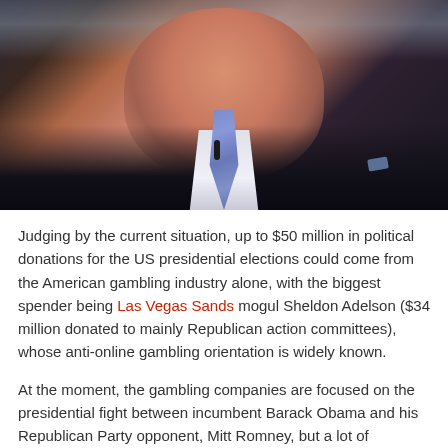[Figure (photo): Portrait photo of Sheldon Adelson, an older man in a dark suit with a blue patterned tie, speaking at a podium or event.]
Judging by the current situation, up to $50 million in political donations for the US presidential elections could come from the American gambling industry alone, with the biggest spender being Las Vegas Sands mogul Sheldon Adelson ($34 million donated to mainly Republican action committees), whose anti-online gambling orientation is widely known.
At the moment, the gambling companies are focused on the presidential fight between incumbent Barack Obama and his Republican Party opponent, Mitt Romney, but a lot of attention was also